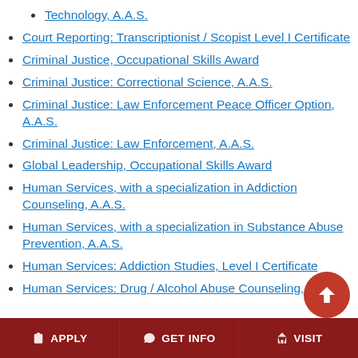Technology, A.A.S.
Court Reporting: Transcriptionist / Scopist Level I Certificate
Criminal Justice, Occupational Skills Award
Criminal Justice: Correctional Science, A.A.S.
Criminal Justice: Law Enforcement Peace Officer Option, A.A.S.
Criminal Justice: Law Enforcement, A.A.S.
Global Leadership, Occupational Skills Award
Human Services, with a specialization in Addiction Counseling, A.A.S.
Human Services, with a specialization in Substance Abuse Prevention, A.A.S.
Human Services: Addiction Studies, Level I Certificate
Human Services: Drug / Alcohol Abuse Counseling,
APPLY   GET INFO   VISIT